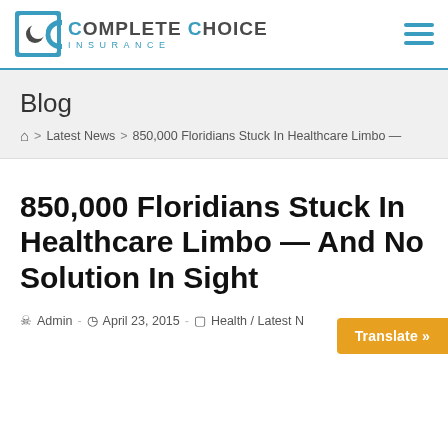[Figure (logo): Complete Choice Insurance logo with circular C icon and company name]
Blog
⌂ > Latest News > 850,000 Floridians Stuck In Healthcare Limbo —
850,000 Floridians Stuck In Healthcare Limbo — And No Solution In Sight
Admin  -  April 23, 2015  -  Health / Latest N...